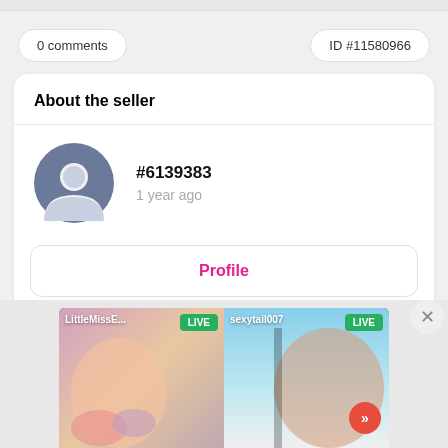0 comments
ID #11580966
About the seller
#6139383
1 year ago
Profile
[Figure (screenshot): Ad banner showing two live stream thumbnails: LittleMissE... LIVE and sexytail007 LIVE, with a next button]